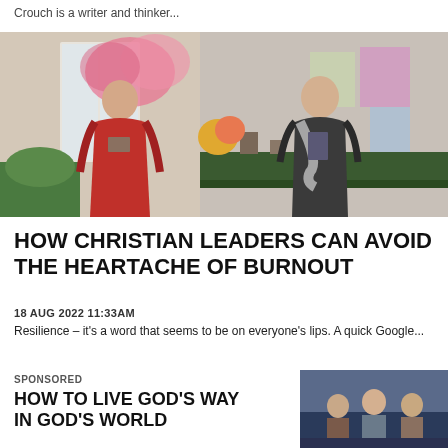Crouch is a writer and thinker...
[Figure (photo): Two women standing in a decorated room with flowers; one in a red dress holding a book, one in black holding a book]
HOW CHRISTIAN LEADERS CAN AVOID THE HEARTACHE OF BURNOUT
18 AUG 2022 11:33AM
Resilience – it's a word that seems to be on everyone's lips. A quick Google...
SPONSORED
HOW TO LIVE GOD'S WAY IN GOD'S WORLD
[Figure (photo): Three people standing in a TV studio setting]